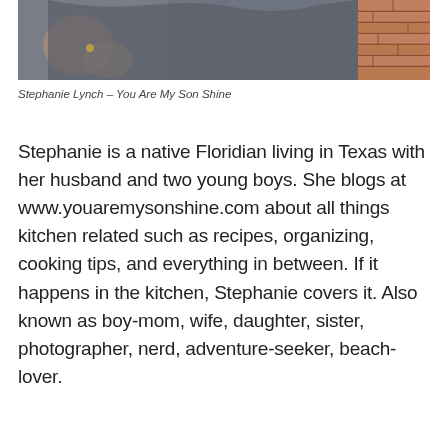[Figure (photo): Photo of Stephanie Lynch, partially cropped, showing upper body in a dark top against a brick wall background]
Stephanie Lynch – You Are My Son Shine
Stephanie is a native Floridian living in Texas with her husband and two young boys. She blogs at www.youaremysonshine.com about all things kitchen related such as recipes, organizing, cooking tips, and everything in between. If it happens in the kitchen, Stephanie covers it. Also known as boy-mom, wife, daughter, sister, photographer, nerd, adventure-seeker, beach-lover.